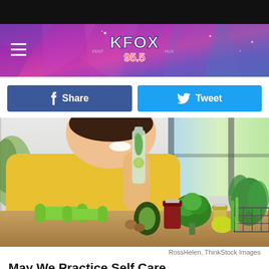KFOX 95.5 radio station website header banner
[Figure (screenshot): Facebook Share button (dark blue) and Twitter Tweet button (light blue) side by side]
[Figure (photo): Woman in yellow shirt smiling, holding a glass bottle with green herbs, surrounded by dumbbells, vegetables including broccoli and avocado, glass jars, and potted green plants on a wooden surface]
RossHelen, ThinkStock Images
May We Practice Self Care